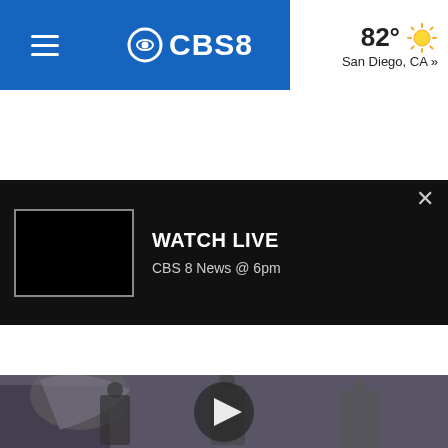[Figure (screenshot): CBS8 news website header with hamburger menu, CBS8 logo on blue background, weather showing 82° and sun icon for San Diego, CA]
[Figure (screenshot): Watch Live banner with black background, TV preview thumbnail, WATCH LIVE title, CBS 8 News @ 6pm subtitle, and X close button]
[Figure (screenshot): Diagonal striped advertisement placeholder area]
[Figure (screenshot): Video thumbnail showing people in a venue with a horse statue/decoration, with a circular play button overlay]